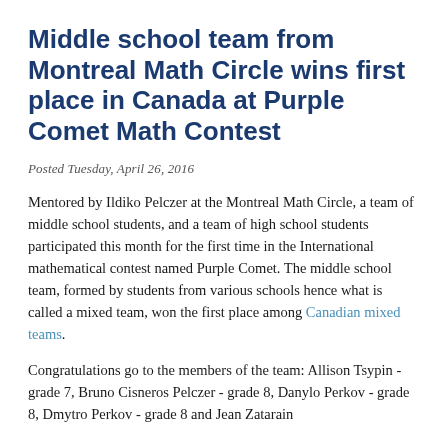Middle school team from Montreal Math Circle wins first place in Canada at Purple Comet Math Contest
Posted Tuesday, April 26, 2016
Mentored by Ildiko Pelczer at the Montreal Math Circle, a team of middle school students, and a team of high school students participated this month for the first time in the International mathematical contest named Purple Comet. The middle school team, formed by students from various schools hence what is called a mixed team, won the first place among Canadian mixed teams.
Congratulations go to the members of the team: Allison Tsypin - grade 7, Bruno Cisneros Pelczer - grade 8, Danylo Perkov - grade 8, Dmytro Perkov - grade 8 and Jean Zatarain